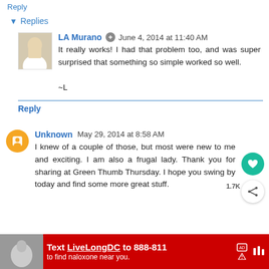Reply
▾ Replies
LA Murano  June 4, 2014 at 11:40 AM
It really works! I had that problem too, and was super surprised that something so simple worked so well.

~L
Reply
Unknown  May 29, 2014 at 8:58 AM
I knew of a couple of those, but most were new to me and exciting. I am also a frugal lady. Thank you for sharing at Green Thumb Thursday. I hope you swing by today and find some more great stuff.
[Figure (screenshot): Advertisement bar at bottom: red background, text 'Text LiveLongDC to 888-811 to find naloxone near you.']